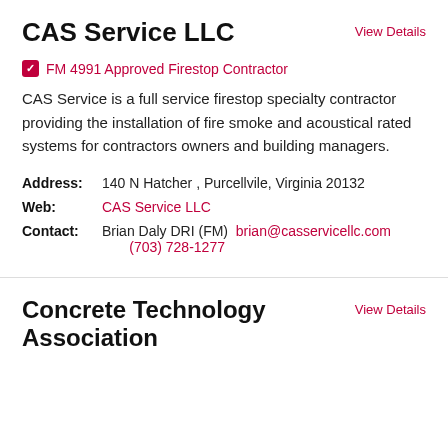CAS Service LLC
View Details
FM 4991 Approved Firestop Contractor
CAS Service is a full service firestop specialty contractor providing the installation of fire smoke and acoustical rated systems for contractors owners and building managers.
Address: 140 N Hatcher , Purcellvile, Virginia 20132
Web: CAS Service LLC
Contact: Brian Daly DRI (FM)  brian@casservicellc.com  (703) 728-1277
Concrete Technology Association
View Details